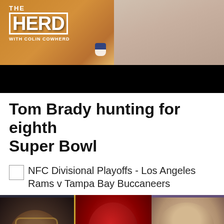[Figure (photo): The Herd with Colin Cowherd TV show promotional image showing logo on left and a man in studio on right]
[Figure (photo): Black video player bar]
Tom Brady hunting for eighth Super Bowl
NFC Divisional Playoffs - Los Angeles Rams v Tampa Bay Buccaneers
[Figure (photo): Three-panel image: Shannon Sharpe on left, Tampa Bay Buccaneers helmet in center, Skip Bayless on right with red scroll-up button overlay]